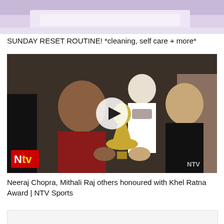[Figure (photo): Top portion of a video thumbnail showing a bed or couch with light purple/white colors, partially cropped]
SUNDAY RESET ROUTINE! *cleaning, self care + more*
[Figure (screenshot): NTV Sports news video thumbnail showing a man in a red suit receiving the Khel Ratna Award trophy from an elderly man in black, with a play button overlay. NTV logo visible in bottom left. NTV watermark in bottom right.]
Neeraj Chopra, Mithali Raj others honoured with Khel Ratna Award | NTV Sports